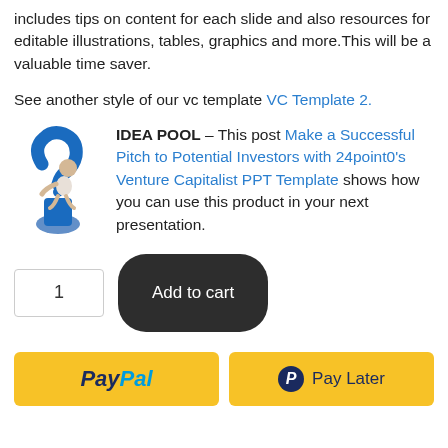includes tips on content for each slide and also resources for editable illustrations, tables, graphics and more.This will be a valuable time saver.
See another style of our vc template VC Template 2.
[Figure (illustration): IDEA POOL icon: a 3D figure sitting on a blue question mark]
IDEA POOL – This post Make a Successful Pitch to Potential Investors with 24point0's Venture Capitalist PPT Template shows how you can use this product in your next presentation.
[Figure (other): Quantity input box showing '1' and Add to cart button]
[Figure (other): PayPal and Pay Later buttons in yellow]